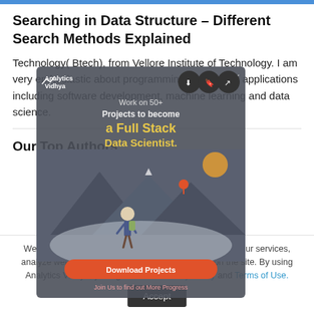Searching in Data Structure – Different Search Methods Explained
Technology( Btech), from Vellore Institute of Technology. I am very enthusiastic about programming and its real applications including software development, machine learning and data science.
Our Top Authors
[Figure (infographic): Analytics Vidhya modal popup overlay showing 'Work on 50+ Projects to become a Full Stack Data Scientist' with an illustration of a person looking at mountains with a location pin, and a 'Download Projects' button at the bottom. Three icon buttons (download, bookmark, share) appear in the top right. An 'x' close button is at the top right corner.]
We use cookies on Analytics Vidhya websites to deliver our services, analyze web traffic, and improve your experience on the site. By using Analytics Vidhya, you agree to our Privacy Policy and Terms of Use.
Accept